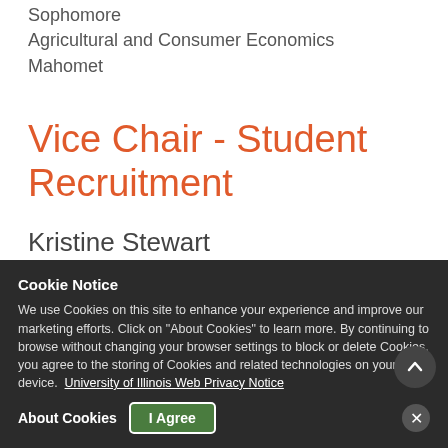Sophomore
Agricultural and Consumer Economics
Mahomet
Vice Chair - Student Recruitment
Kristine Stewart
Junior
Agricultural Sciences
Turkey
ACES Council
Cookie Notice — We use Cookies on this site to enhance your experience and improve our marketing efforts. Click on "About Cookies" to learn more. By continuing to browse without changing your browser settings to block or delete Cookies, you agree to the storing of Cookies and related technologies on your device. University of Illinois Web Privacy Notice